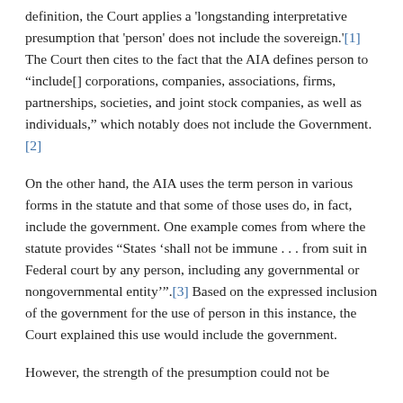definition, the Court applies a 'longstanding interpretative presumption that 'person' does not include the sovereign.'[1] The Court then cites to the fact that the AIA defines person to "include[] corporations, companies, associations, firms, partnerships, societies, and joint stock companies, as well as individuals," which notably does not include the Government. [2]
On the other hand, the AIA uses the term person in various forms in the statute and that some of those uses do, in fact, include the government. One example comes from where the statute provides "States 'shall not be immune . . . from suit in Federal court by any person, including any governmental or nongovernmental entity''".[3] Based on the expressed inclusion of the government for the use of person in this instance, the Court explained this use would include the government.
However, the strength of the presumption could not be